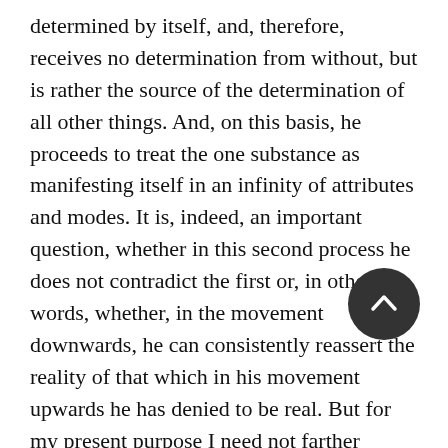determined by itself, and, therefore, receives no determination from without, but is rather the source of the determination of all other things. And, on this basis, he proceeds to treat the one substance as manifesting itself in an infinity of attributes and modes. It is, indeed, an important question, whether in this second process he does not contradict the first or, in other words, whether, in the movement downwards, he can consistently reassert the reality of that which in his movement upwards he has denied to be real. But for my present purpose I need not farther explain or criticise the logic of his system. I need not ask whether Spinoza has justified his transition from the indeterminate to the self-determined, or whether, in his negation of the limits of the finite, he still leaves it open to himself to admit a reality in finite things, which is not negated: whether, in other words, he has a right on his own principles to conceive of the absolute substance as manifesting itself in attributes